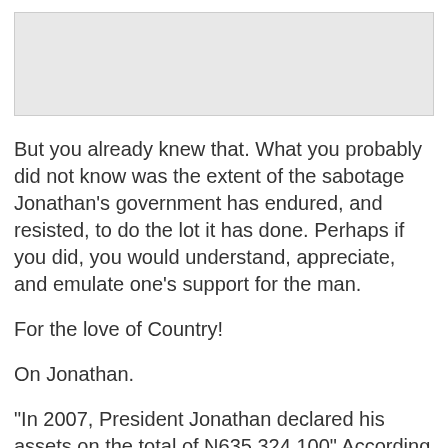[Figure (other): Gray placeholder image block at the top of the page]
But you already knew that. What you probably did not know was the extent of the sabotage Jonathan's government has endured, and resisted, to do the lot it has done. Perhaps if you did, you would understand, appreciate, and emulate one's support for the man.
For the love of Country!
On Jonathan.
"In 2007, President Jonathan declared his assets on the total of N695,324,120" According to Nob...